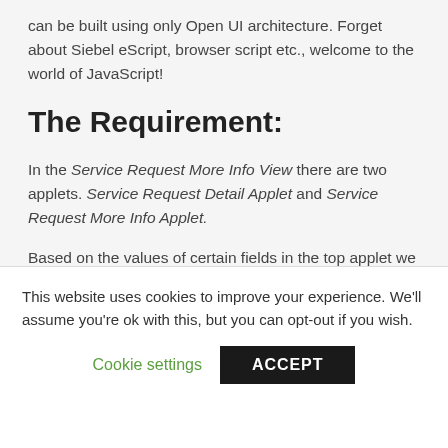can be built using only Open UI architecture. Forget about Siebel eScript, browser script etc., welcome to the world of JavaScript!
The Requirement:
In the Service Request More Info View there are two applets. Service Request Detail Applet and Service Request More Info Applet.
Based on the values of certain fields in the top applet we need to
This website uses cookies to improve your experience. We'll assume you're ok with this, but you can opt-out if you wish.
Cookie settings    ACCEPT